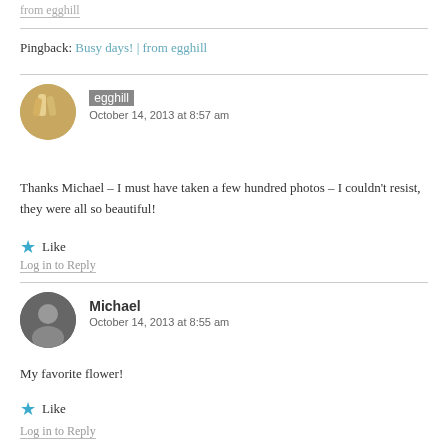from egghill
Pingback: Busy days! | from egghill
egghill
October 14, 2013 at 8:57 am
Thanks Michael – I must have taken a few hundred photos – I couldn't resist, they were all so beautiful!
Like
Log in to Reply
Michael
October 14, 2013 at 8:55 am
My favorite flower!
Like
Log in to Reply